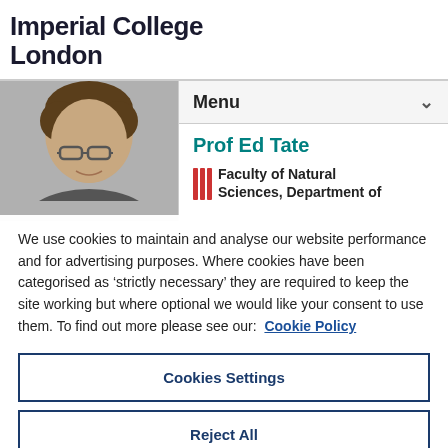Imperial College London
[Figure (photo): Profile photo of Prof Ed Tate, a man with dark hair and glasses, on a grey background]
Menu
Prof Ed Tate
Faculty of Natural Sciences, Department of
We use cookies to maintain and analyse our website performance and for advertising purposes. Where cookies have been categorised as 'strictly necessary' they are required to keep the site working but where optional we would like your consent to use them. To find out more please see our: Cookie Policy
Cookies Settings
Reject All